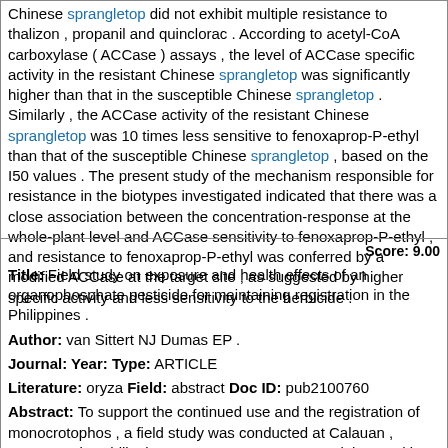Chinese sprangletop did not exhibit multiple resistance to thalizon, propanil and quinclorac . According to acetyl-CoA carboxylase ( ACCase ) assays , the level of ACCase specific activity in the resistant Chinese sprangletop was significantly higher than that in the susceptible Chinese sprangletop . Similarly , the ACCase activity of the resistant Chinese sprangletop was 10 times less sensitive to fenoxaprop-P-ethyl than that of the susceptible Chinese sprangletop , based on the I50 values . The present study of the mechanism responsible for resistance in the biotypes investigated indicated that there was a close association between the concentration-response at the whole-plant level and ACCase sensitivity to fenoxaprop-P-ethyl , and resistance to fenoxaprop-P-ethyl was conferred by a modified ACCase at the target site , as suggested by higher specific activity and less sensitivity to the herbicide .
Score: 9.00
Title: Field study on exposure and health effects of an organophosphate pesticide for maintaining registration in the Philippines .
Author: van Sittert NJ Dumas EP .
Journal: Year: Type: ARTICLE
Literature: oryza Field: abstract Doc ID: pub2100760
Abstract: To support the continued use and the registration of monocrotophos , a field study was conducted at Calauan , Laguna , The Philippines , to assess exposure and the resulting health risk to 21 spraymen applying monocrotophos to rice crop by knapsack spraying during 3 consecutive days . The findings of the study were as follows : exposure of uncovered hands and of the skin of the back to the concentrate was visually observed during the filling , and respectively loading operations ; During spraying exposure from airborne diluted formulation occurred ; in addition contamination of the lower parts of the